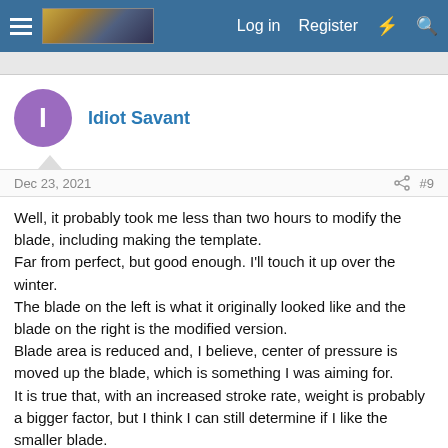Log in  Register
Idiot Savant
Dec 23, 2021  #9
Well, it probably took me less than two hours to modify the blade, including making the template.
Far from perfect, but good enough. I'll touch it up over the winter.
The blade on the left is what it originally looked like and the blade on the right is the modified version.
Blade area is reduced and, I believe, center of pressure is moved up the blade, which is something I was aiming for.
It is true that, with an increased stroke rate, weight is probably a bigger factor, but I think I can still determine if I like the smaller blade.
Now all I need is spring.